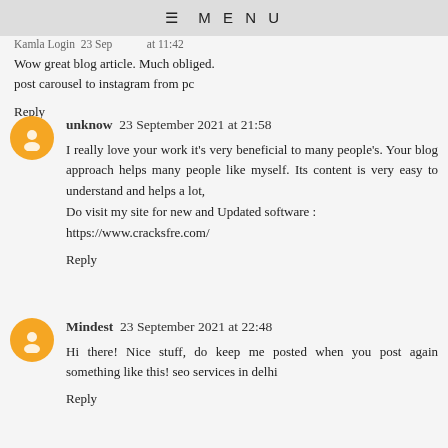≡ MENU
Wow great blog article. Much obliged.
post carousel to instagram from pc
Reply
unknow  23 September 2021 at 21:58
I really love your work it's very beneficial to many people's. Your blog approach helps many people like myself. Its content is very easy to understand and helps a lot,
Do visit my site for new and Updated software :
https://www.cracksfre.com/
Reply
Mindest  23 September 2021 at 22:48
Hi there! Nice stuff, do keep me posted when you post again something like this! seo services in delhi
Reply